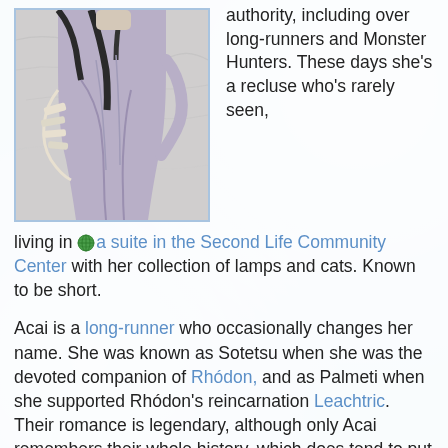[Figure (illustration): Anime/manga style illustration of a character wearing a grey/lavender outfit with bandages or wrappings, cropped to show torso and partial head area, framed with a light blue border.]
authority, including over long-runners and Monster Hunters. These days she's a recluse who's rarely seen, living in 🌍a suite in the Second Life Community Center with her collection of lamps and cats. Known to be short.
Acai is a long-runner who occasionally changes her name. She was known as Sotetsu when she was the devoted companion of Rhódon, and as Palmeti when she supported Rhódon's reincarnation Leachtric. Their romance is legendary, although only Acai remembers their whole history, which does tend to put a lot of pressure on Rhódon's reincarnations.
She's able send other people to the past as time-